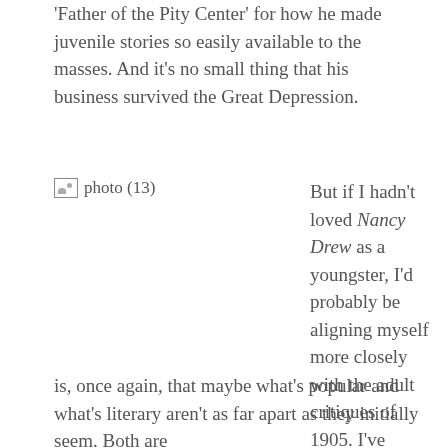'Father of the Pity Center' for how he made juvenile stories so easily available to the masses. And it's no small thing that his business survived the Great Depression.
[Figure (photo): Photo placeholder labeled 'photo (13)']
But if I hadn't loved Nancy Drew as a youngster, I'd probably be aligning myself more closely with the adult critiques of 1905. I've confessed to a new appreciation for serial work, so what I find myself mulling over as I consider the Stratemeyer Syndicate and its legacy, is, once again, that maybe what's popular and what's literary aren't as far apart as they initially seem. Both are